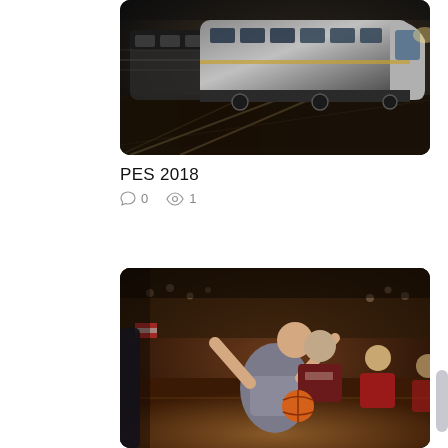[Figure (photo): Dark moody photo of a modern train at a station, shot from above at an angle, motion blur on surrounding tracks]
PES 2018
0 comments  1 view
[Figure (photo): Basketball game photo showing a player in gray uniform driving to the basket against players in red/white uniforms, indoor arena with crowd]